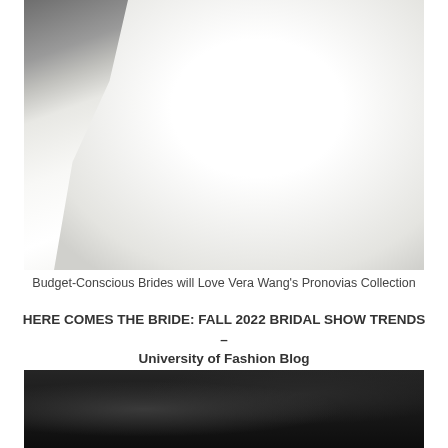[Figure (photo): A close-up photograph of a model wearing a voluminous white bridal ball gown with a large bow or ruffle detail at the shoulder/chest, photographed outdoors against a stone background. The skirt is very full with textured fabric at the hem.]
Budget-Conscious Brides will Love Vera Wang's Pronovias Collection
HERE COMES THE BRIDE: FALL 2022 BRIDAL SHOW TRENDS – University of Fashion Blog
[Figure (photo): Bottom portion of a photo with a very dark, nearly black background/fabric, likely another bridal fashion image.]